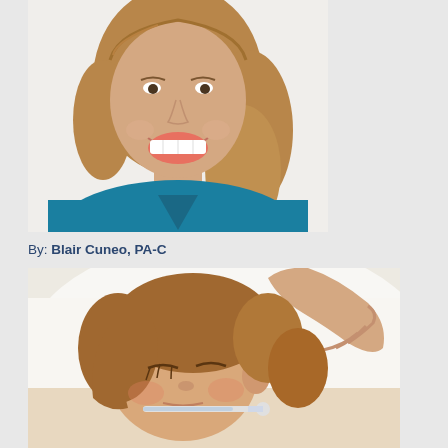[Figure (photo): Professional headshot of a smiling woman with shoulder-length brown hair wearing a teal/blue top, photographed against a white background.]
By: Blair Cuneo, PA-C
[Figure (photo): Close-up photo of a sick young child lying in bed with a thermometer in their mouth, with an adult hand resting on the child's forehead checking for fever.]